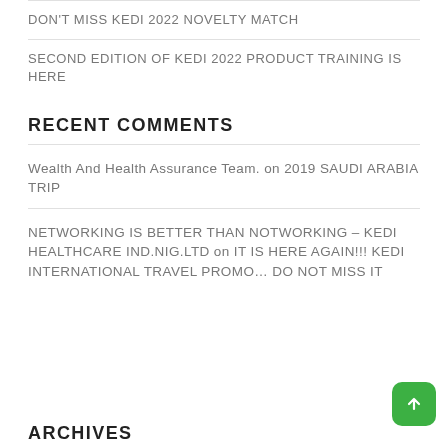DON'T MISS KEDI 2022 NOVELTY MATCH
SECOND EDITION OF KEDI 2022 PRODUCT TRAINING IS HERE
RECENT COMMENTS
Wealth And Health Assurance Team. on 2019 SAUDI ARABIA TRIP
NETWORKING IS BETTER THAN NOTWORKING – KEDI HEALTHCARE IND.NIG.LTD on IT IS HERE AGAIN!!! KEDI INTERNATIONAL TRAVEL PROMO… DO NOT MISS IT
ARCHIVES